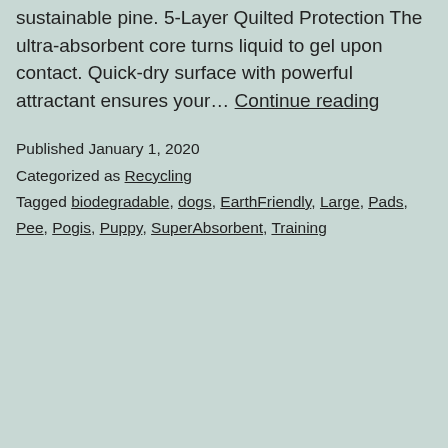sustainable pine. 5-Layer Quilted Protection The ultra-absorbent core turns liquid to gel upon contact. Quick-dry surface with powerful attractant ensures your… Continue reading
Published January 1, 2020
Categorized as Recycling
Tagged biodegradable, dogs, EarthFriendly, Large, Pads, Pee, Pogis, Puppy, SuperAbsorbent, Training